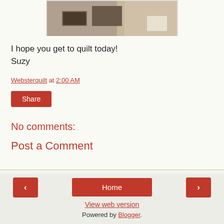[Figure (photo): Partial view of a photograph showing quilting materials on a table, cropped at the top of the page.]
I hope you get to quilt today!
Suzy
Websterquilt at 2:00 AM
Share
No comments:
Post a Comment
◂
Home
▸
View web version
Powered by Blogger.